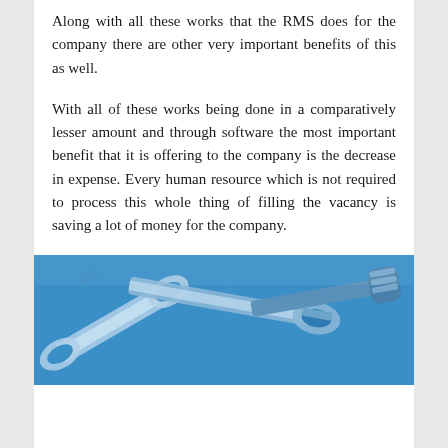Along with all these works that the RMS does for the company there are other very important benefits of this as well.
With all of these works being done in a comparatively lesser amount and through software the most important benefit that it is offering to the company is the decrease in expense. Every human resource which is not required to process this whole thing of filling the vacancy is saving a lot of money for the company.
[Figure (photo): Close-up photograph of metal wrenches and tools on a blue background]